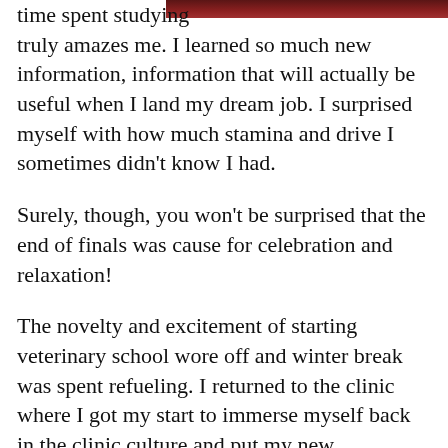[Figure (photo): Partial photo visible at top right corner, dark reddish-brown tones, cropped]
time spent studying truly amazes me. I learned so much new information, information that will actually be useful when I land my dream job. I surprised myself with how much stamina and drive I sometimes didn't know I had.

Surely, though, you won't be surprised that the end of finals was cause for celebration and relaxation!

The novelty and excitement of starting veterinary school wore off and winter break was spent refueling. I returned to the clinic where I got my start to immerse myself back in the clinic culture and put my new knowledge to the test.

It was fun to see patients again and watch the veterinarians care for them from a first-year students' perspective. Watching surgeries and actually knowing the anatomy or seeing a patient and understanding